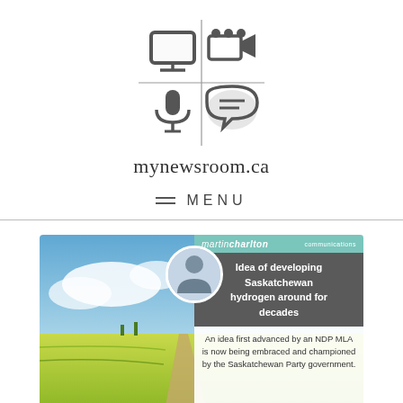[Figure (logo): mynewsroom.ca logo grid with four icons: monitor/TV, video camera, microphone, speech bubble with lines]
mynewsroom.ca
MENU
[Figure (photo): Article card with Saskatchewan prairie landscape background showing canola field and road, overlay with Martin Charlton Communications branding, headline 'Idea of developing Saskatchewan hydrogen around for decades', and text 'An idea first advanced by an NDP MLA is now being embraced and championed by the Saskatchewan Party government.']